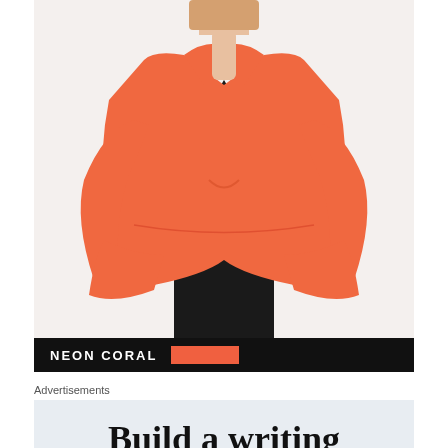[Figure (photo): A woman wearing a neon coral/salmon colored peplum blazer jacket over a black top, with black trousers. Only the torso and lower face visible.]
NEON CORAL
Advertisements
Build a writing habit. Post on